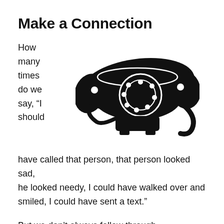Make a Connection
[Figure (illustration): Black silhouette illustration of a classic rotary telephone viewed from above/front, with handset resting on the base and rotary dial visible in the center.]
How many times do we say, “I should have called that person, that person looked sad, he looked needy, I could have walked over and smiled, I could have sent a text.”
But we don’t always follow through.
Life is busy.